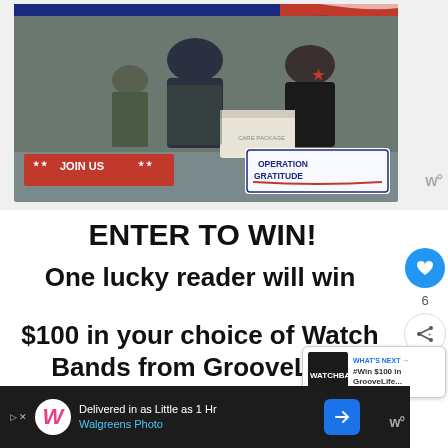[Figure (photo): Photo of a military service member in camouflage uniform receiving a care package box from a woman in black clothing. Red, white and blue banner at top. Red banner with '★ ★ JOIN US ★ ★' at bottom left. Operation Gratitude logo at bottom right.]
ENTER TO WIN!
One lucky reader will win $100 in your choice of Watch Bands from GrooveLife!
[Figure (screenshot): What's Next overlay showing a small thumbnail and text '#Win $100 in GrooveLife...']
[Figure (screenshot): Bottom advertisement bar: Walgreens Photo - Delivered in as Little as 1 Hr]